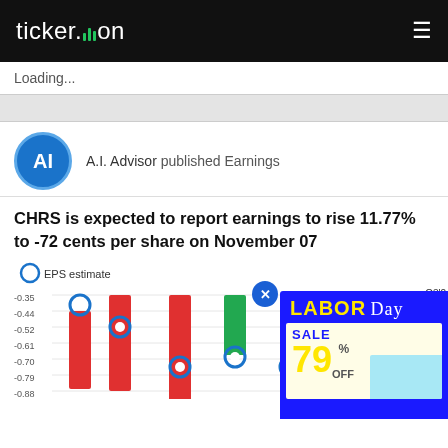ticker.on
Loading...
A.I. Advisor published Earnings
CHRS is expected to report earnings to rise 11.77% to -72 cents per share on November 07
[Figure (bar-chart): EPS estimate bar chart showing negative values ranging from approximately -0.35 to -0.88, with red/green bars and blue circle markers indicating estimates]